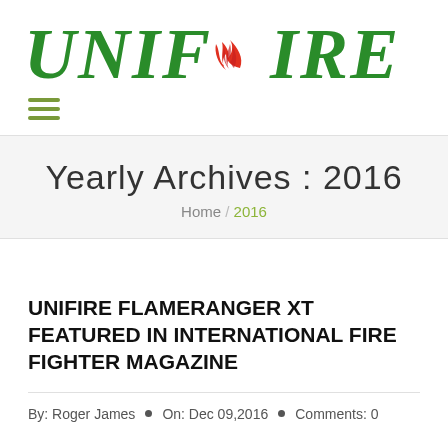[Figure (logo): UNIFIRE logo in bold green italic serif font with a red flame icon above the letter I]
[Figure (other): Hamburger menu icon with three horizontal green lines]
Yearly Archives : 2016
Home / 2016
UNIFIRE FLAMERANGER XT FEATURED IN INTERNATIONAL FIRE FIGHTER MAGAZINE
By: Roger James  •  On: Dec 09,2016  •  Comments: 0